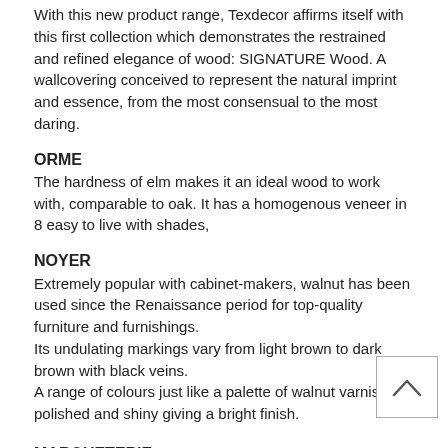With this new product range, Texdecor affirms itself with this first collection which demonstrates the restrained and refined elegance of wood: SIGNATURE Wood. A wallcovering conceived to represent the natural imprint and essence, from the most consensual to the most daring.
ORME
The hardness of elm makes it an ideal wood to work with, comparable to oak. It has a homogenous veneer in 8 easy to live with shades,
NOYER
Extremely popular with cabinet-makers, walnut has been used since the Renaissance period for top-quality furniture and furnishings.
Its undulating markings vary from light brown to dark brown with black veins.
A range of colours just like a palette of walnut varnishes, polished and shiny giving a bright finish.
MARQUETERIE
The MARQUETERIE design is a modern decor created by combining the two designs in the range and has been designed to